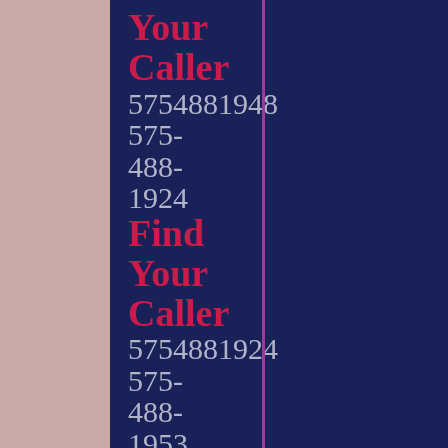Your Caller 5754881948 575-488-1924 Find Your Caller 5754881924 575-488-1953 Find Your Caller